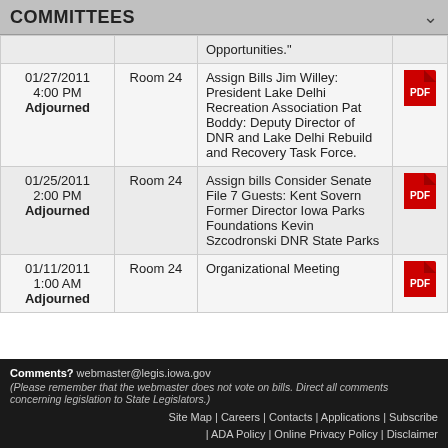COMMITTEES
| Date/Time/Status | Room | Description | PDF |
| --- | --- | --- | --- |
|  |  | Opportunities." |  |
| 01/27/2011
4:00 PM
Adjourned | Room 24 | Assign Bills Jim Willey: President Lake Delhi Recreation Association Pat Boddy: Deputy Director of DNR and Lake Delhi Rebuild and Recovery Task Force. | PDF |
| 01/25/2011
2:00 PM
Adjourned | Room 24 | Assign bills Consider Senate File 7 Guests: Kent Sovern Former Director Iowa Parks Foundations Kevin Szcodronski DNR State Parks | PDF |
| 01/11/2011
1:00 AM
Adjourned | Room 24 | Organizational Meeting | PDF |
Comments? webmaster@legis.iowa.gov (Please remember that the webmaster does not vote on bills. Direct all comments concerning legislation to State Legislators.) Site Map | Careers | Contacts | Applications | Subscribe | ADA Policy | Online Privacy Policy | Disclaimer